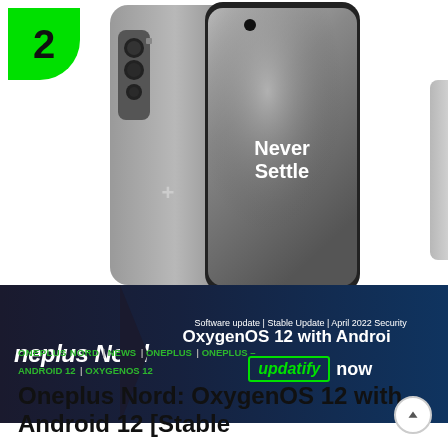[Figure (photo): OnePlus Nord smartphone with 'Never Settle' on screen, showing back camera array, with a green number 2 badge in the top-left corner and a dark banner overlay showing 'OxygenOS 12 with Android' and updatify now branding]
ONEPLUS NORD | NEWS | ONEPLUS | ONEPLUS – ANDROID 12 | OXYGENOS 12
Oneplus Nord: OxygenOS 12 with Android 12 [Stable Update]